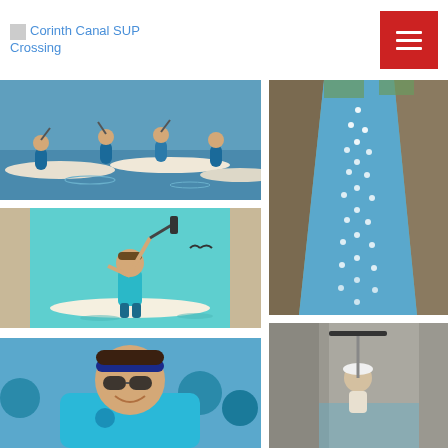Corinth Canal SUP Crossing
[Figure (photo): Group of people on stand-up paddleboards on blue water, wearing blue shirts]
[Figure (photo): Aerial view of Corinth Canal filled with SUP paddlers, narrow canal with tall rocky walls]
[Figure (photo): Young boy standing on a SUP board in turquoise water holding a paddle up]
[Figure (photo): Smiling participant wearing blue t-shirt and sunglasses at the SUP crossing event]
[Figure (photo): Person holding a paddle high above their head in the Corinth Canal, viewed from above]